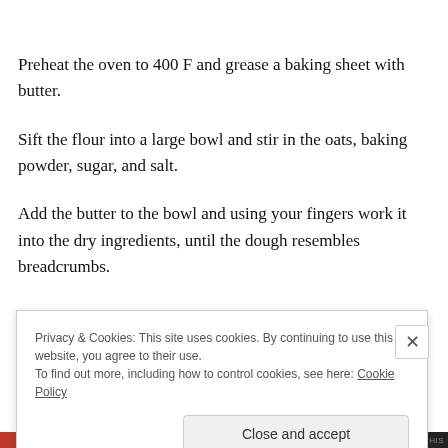Preheat the oven to 400 F and grease a baking sheet with butter.
Sift the flour into a large bowl and stir in the oats, baking powder, sugar, and salt.
Add the butter to the bowl and using your fingers work it into the dry ingredients, until the dough resembles breadcrumbs.
Privacy & Cookies: This site uses cookies. By continuing to use this website, you agree to their use.
To find out more, including how to control cookies, see here: Cookie Policy
Close and accept